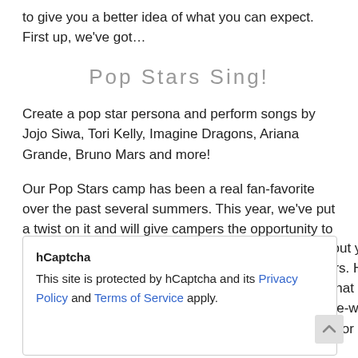to give you a better idea of what you can expect. First up, we've got…
Pop Stars Sing!
Create a pop star persona and perform songs by Jojo Siwa, Tori Kelly, Imagine Dragons, Ariana Grande, Bruno Mars and more!
Our Pop Stars camp has been a real fan-favorite over the past several summers. This year, we've put a twist on it and will give campers the opportunity to sing some of their favorite pop songs from both the hit radio stations and your
hCaptcha
This site is protected by hCaptcha and its Privacy Policy and Terms of Service apply.
t know about you, headquarters. How g hits that had e? This one-week th major star